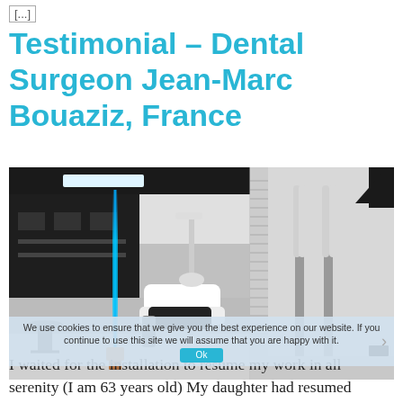[...]
Testimonial – Dental Surgeon Jean-Marc Bouaziz, France
[Figure (photo): Split photo showing a modern dental surgery room on the left with a dental chair, black cabinetry, and a blue laser/UV light beam, and UV lamp stands on the right in a clinical room with window blinds and a pendant light.]
We use cookies to ensure that we give you the best experience on our website. If you continue to use this site we will assume that you are happy with it.
I waited for the installation to resume my work in all serenity (I am 63 years old) My daughter had resumed before with the obligation to open the windows during 1/4